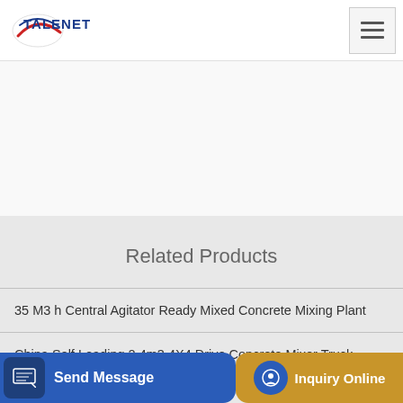TALENET
Related Products
35 M3 h Central Agitator Ready Mixed Concrete Mixing Plant
China Self Loading 2 4m3 4X4 Drive Concrete Mixer Truck
Mixer...